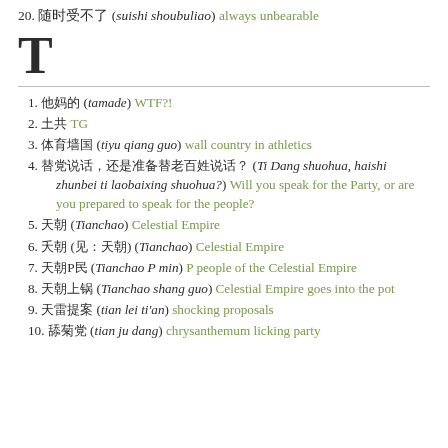20. 随时受不了 (suishi shoubuliao) always unbearable
T
1. 他妈的 (tamade) WTF?!
2. 土共 TG
3. 体育墙国 (tiyu qiang guo) wall country in athletics
4. 替党说话，还是准备替老百姓说话？ (Ti Dang shuohua, haishi zhunbei ti laobaixing shuohua?) Will you speak for the Party, or are you prepared to speak for the people?
5. 天朝 (Tianchao) Celestial Empire
6. 天朝 (见：天朝) (Tianchao) Celestial Empire
7. 天朝P民 (Tianchao P min) P people of the Celestial Empire
8. 天朝上锅 (Tianchao shang guo) Celestial Empire goes into the pot
9. 天雷提案 (tian lei ti'an) shocking proposals
10. 舔菊党 (tian ju dang) chrysanthemum licking party